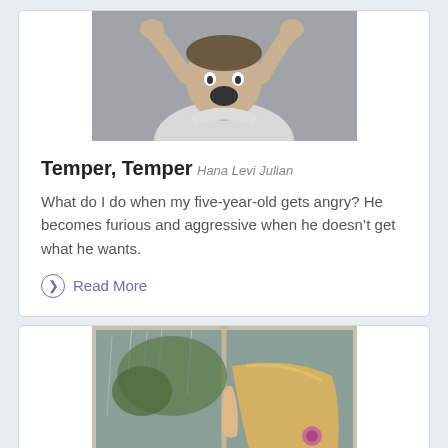[Figure (photo): Child with hands on head, mouth open, appearing to be yelling or frustrated, wearing a white shirt, against a gray background]
Temper, Temper
Hana Levi Julian
What do I do when my five-year-old gets angry? He becomes furious and aggressive when he doesn’t get what he wants.
Read More
[Figure (photo): Young blonde girl looking out a rainy window, with her head resting, seen from behind/side]